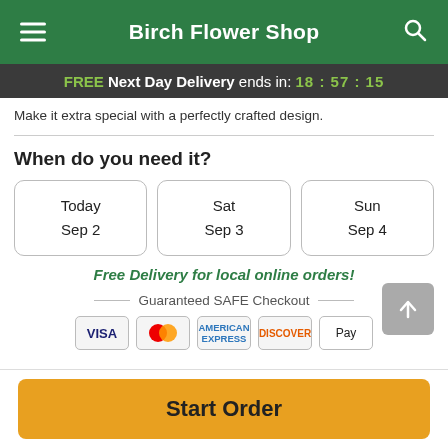Birch Flower Shop
FREE Next Day Delivery ends in: 18:57:15
Make it extra special with a perfectly crafted design.
When do you need it?
Today
Sep 2
Sat
Sep 3
Sun
Sep 4
Free Delivery for local online orders!
Guaranteed SAFE Checkout
Start Order